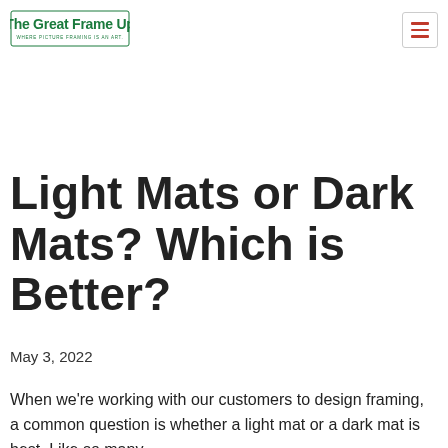The Great Frame Up — WHERE PICTURE FRAMING IS AN ART.
Light Mats or Dark Mats? Which is Better?
May 3, 2022
When we're working with our customers to design framing, a common question is whether a light mat or a dark mat is best. Like so many